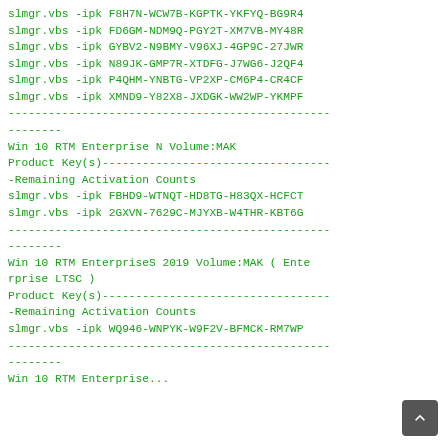slmgr.vbs -ipk F8H7N-WCW7B-KGPTK-YKFYQ-BG9R4
slmgr.vbs -ipk FD6GM-NDM9Q-PGY2T-XM7VB-MY48R
slmgr.vbs -ipk GYBV2-N9BMY-V96XJ-4GP9C-27JWR
slmgr.vbs -ipk N89JK-GMP7R-XTDFG-J7WG6-J2QF4
slmgr.vbs -ipk P4QHM-YNBTG-VP2XP-CM6P4-CR4CF
slmgr.vbs -ipk XMND9-Y82X8-JXDGK-WW2WP-YKMPF
------------------------------------------------
--------
Win 10 RTM Enterprise N Volume:MAK
Product Key(s)----------------------------------
-Remaining Activation Counts
slmgr.vbs -ipk FBHD9-WTNQT-HD8TG-H83QX-HCFCT
slmgr.vbs -ipk 2GXVN-7629C-MJYXB-W4THR-KBT6G
------------------------------------------------
--------
Win 10 RTM EnterpriseS 2019 Volume:MAK ( Enterprise LTSC )
Product Key(s)----------------------------------
-Remaining Activation Counts
slmgr.vbs -ipk WQ946-WNPYK-W9F2V-BFMCK-RM7WP
------------------------------------------------
--------
Win 10 RTM Enterprise...